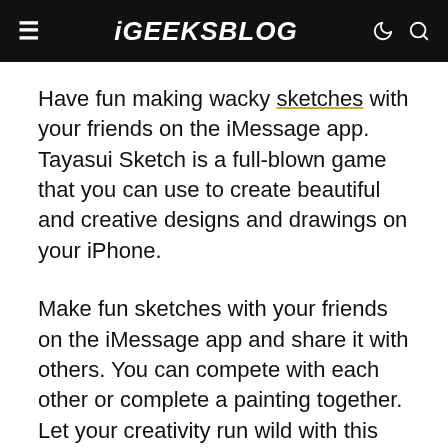iGEEKSBLOG
Have fun making wacky sketches with your friends on the iMessage app. Tayasui Sketch is a full-blown game that you can use to create beautiful and creative designs and drawings on your iPhone.
Make fun sketches with your friends on the iMessage app and share it with others. You can compete with each other or complete a painting together. Let your creativity run wild with this app. Add this to your iMessage app drawer today.